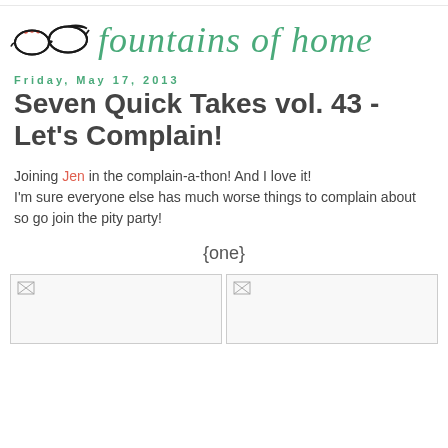[Figure (logo): Fountains of Home blog logo with vintage cat-eye glasses illustration and cursive script text 'fountains of home' in teal/green]
Friday, May 17, 2013
Seven Quick Takes vol. 43 - Let's Complain!
Joining Jen in the complain-a-thon! And I love it! I'm sure everyone else has much worse things to complain about so go join the pity party!
{one}
[Figure (photo): Two image boxes side by side with placeholder broken image icons]
[Figure (photo): Second image box placeholder]